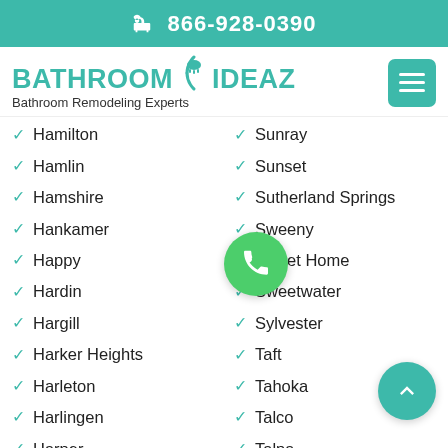866-928-0390
[Figure (logo): Bathroom Ideaz logo with shower head icon and tagline Bathroom Remodeling Experts]
Hamilton
Hamlin
Hamshire
Hankamer
Happy
Hardin
Hargill
Harker Heights
Harleton
Harlingen
Harper
Sunray
Sunset
Sutherland Springs
Sweeny
Sweet Home
Sweetwater
Sylvester
Taft
Tahoka
Talco
Talpa